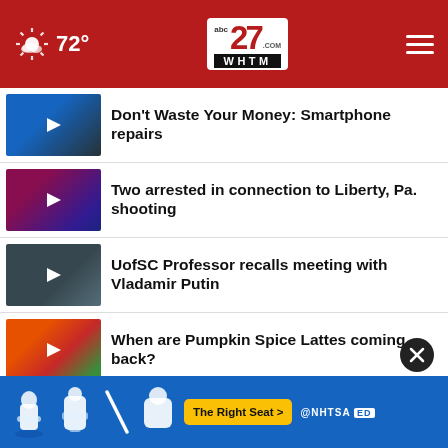abc27 WHTM — 72°
Don't Waste Your Money: Smartphone repairs
Two arrested in connection to Liberty, Pa. shooting
UofSC Professor recalls meeting with Vladamir Putin
When are Pumpkin Spice Lattes coming back?
Kipona Festival returns Labor Day weekend in Harrisburg
[Figure (screenshot): NHTSA The Right Seat advertisement banner at bottom of page]